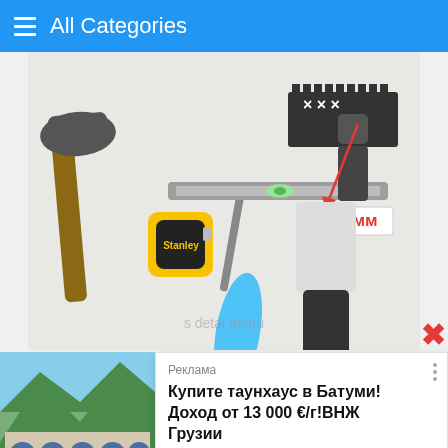All Categories
[Figure (photo): Photo of construction/tiling tools laid on white surface: hammer, tape measure, blue trowel/spatula, spirit level, notched trowel, putty knife/scraper, with red arrow annotation pointing to '3 мм' label]
Preparatory stage
[Figure (photo): Photo of a multi-story residential building with arched windows, surrounded by green trees and mountains in background]
Реклама
Купите таунхаус в Батуми! Доход от 13 000 €/г!ВНЖ Грузии
eliteriviera.ge
Узнать больше